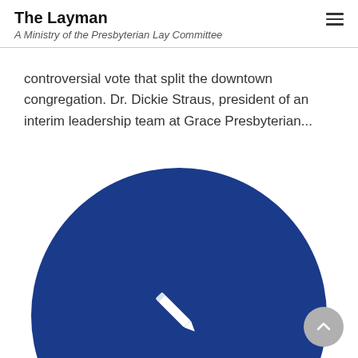The Layman
A Ministry of the Presbyterian Lay Committee
controversial vote that split the downtown congregation. Dr. Dickie Straus, president of an interim leadership team at Grace Presbyterian...
[Figure (illustration): Large dark blue circle with a white pencil/edit icon in the center, representing an article or post placeholder image.]